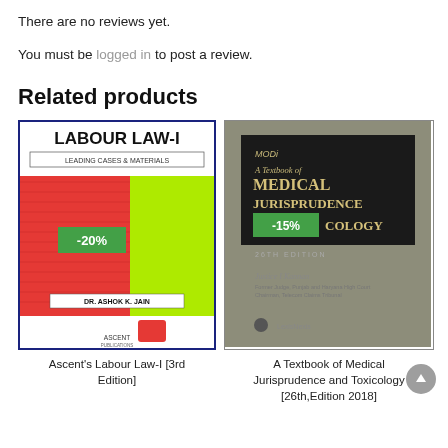There are no reviews yet.
You must be logged in to post a review.
Related products
[Figure (photo): Book cover: Ascent's Labour Law-I [3rd Edition] with -20% discount badge]
Ascent's Labour Law-I [3rd Edition]
[Figure (photo): Book cover: A Textbook of Medical Jurisprudence and Toxicology [26th,Edition 2018] with -15% discount badge]
A Textbook of Medical Jurisprudence and Toxicology [26th,Edition 2018]